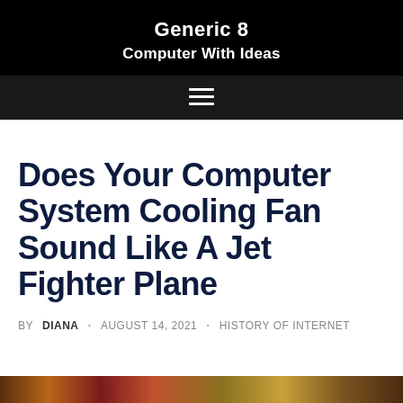Generic 8
Computer With Ideas
Does Your Computer System Cooling Fan Sound Like A Jet Fighter Plane
BY DIANA · AUGUST 14, 2021 · HISTORY OF INTERNET
[Figure (photo): Partial image strip at the bottom of the page]